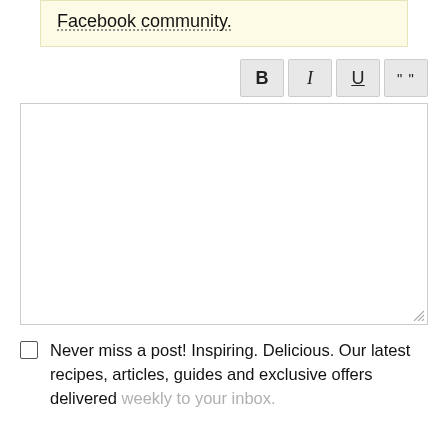Facebook community.
[Figure (screenshot): Text editor toolbar with four buttons: B (bold), I (italic), U (underline), and quotation marks]
[Figure (screenshot): Empty text input area with resize handle at bottom-right corner]
Never miss a post! Inspiring. Delicious. Our latest recipes, articles, guides and exclusive offers delivered weekly to your inbox.